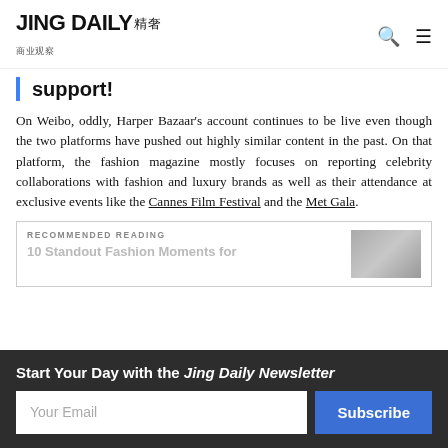JING DAILY 精奢
support!
On Weibo, oddly, Harper Bazaar's account continues to be live even though the two platforms have pushed out highly similar content in the past. On that platform, the fashion magazine mostly focuses on reporting celebrity collaborations with fashion and luxury brands as well as their attendance at exclusive events like the Cannes Film Festival and the Met Gala.
RECOMMENDED READING
10 Standout Fashion Moments for
Start Your Day with the Jing Daily Newsletter